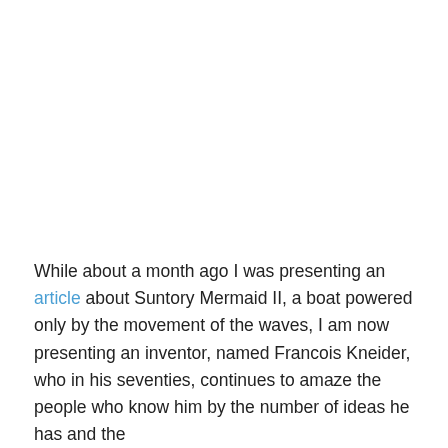While about a month ago I was presenting an article about Suntory Mermaid II, a boat powered only by the movement of the waves, I am now presenting an inventor, named Francois Kneider, who in his seventies, continues to amaze the people who know him by the number of ideas he has and the